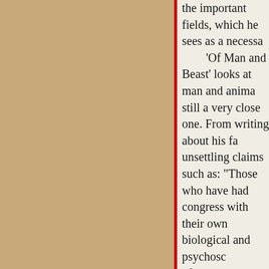the important fields, which he sees as a necessa... 'Of Man and Beast' looks at man and anima... still a very close one. From writing about his fa... unsettling claims such as: "Those who have had... congress with their own biological and psychosc... of the bases here too. There are interesting quest... this is perhaps the one out of the seven that is le... book.

Finally, in 'Begging the Question' he turns t... particular the question of his politics -- as he no... politically active, and has always stayed more o... sphere.

My Unwritten Books is a condensed Steiner... introduction to the man and his many varied tho... does what he often did best: offer food for thoug... with enough to debate and ponder for many lifte... he manages is to present it in such a way that ev... much as they want from it: read it simply for the... underline every other line and discuss each of th... anyone you can get to listen. (The questions and... provocative that it shouldn't be a problem findin... with).

It's the connexions -- Steiner's own ability t... philosophical, scientific, mathematical, musical,... - that make the book particularly lively. The pers... tough too, though not always; we could have do...